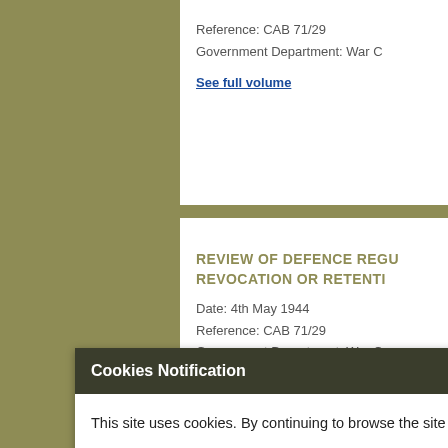Reference: CAB 71/29
Government Department: War C
See full volume
REVIEW OF DEFENCE REGU... REVOCATION OR RETENTI...
Date: 4th May 1944
Reference: CAB 71/29
Government Department: War C
See full volume
Evacuation Committee R... ites and va
Cookies Notification
This site uses cookies. By continuing to browse the site you are agreeing to our use of cookies. Find out more.
Accept